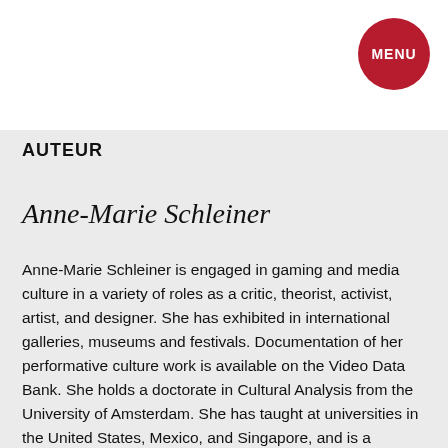[Figure (other): Red circular MENU button in top right corner]
AUTEUR
Anne-Marie Schleiner
Anne-Marie Schleiner is engaged in gaming and media culture in a variety of roles as a critic, theorist, activist, artist, and designer. She has exhibited in international galleries, museums and festivals. Documentation of her performative culture work is available on the Video Data Bank. She holds a doctorate in Cultural Analysis from the University of Amsterdam. She has taught at universities in the United States, Mexico, and Singapore, and is a Lecturer in Design at the University of California, Davis.